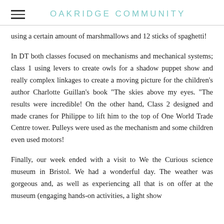OAKRIDGE COMMUNITY
using a certain amount of marshmallows and 12 sticks of spaghetti!
In DT both classes focused on mechanisms and mechanical systems; class 1 using levers to create owls for a shadow puppet show and really complex linkages to create a moving picture for the children's author Charlotte Guillan's book "The skies above my eyes. "The results were incredible! On the other hand, Class 2 designed and made cranes for Philippe to lift him to the top of One World Trade Centre tower. Pulleys were used as the mechanism and some children even used motors!
Finally, our week ended with a visit to We the Curious science museum in Bristol. We had a wonderful day. The weather was gorgeous and, as well as experiencing all that is on offer at the museum (engaging hands-on activities, a light show